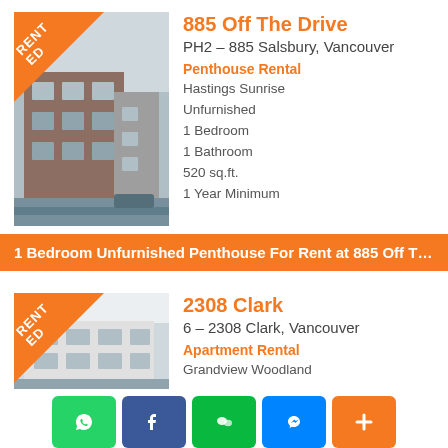[Figure (photo): Photo of 885 Off The Drive building exterior, modern multi-story with orange/brown cladding and glass, RENTED banner in top-left corner]
885 Off The Drive
PH2 - 885 Salsbury, Vancouver
Penthouse Rental
Hastings Sunrise
Unfurnished
1 Bedroom
1 Bathroom
520 sq.ft.
1 Year Minimum
1 Bedroom Unfurnished Penthouse For Rent at 885 Off The Dr...
[Figure (photo): Photo of 2308 Clark building exterior, light-colored low-rise apartment, RENTED banner in top-left corner]
2308 Clark
6 - 2308 Clark, Vancouver
Apartment Rental
Grandview Woodland